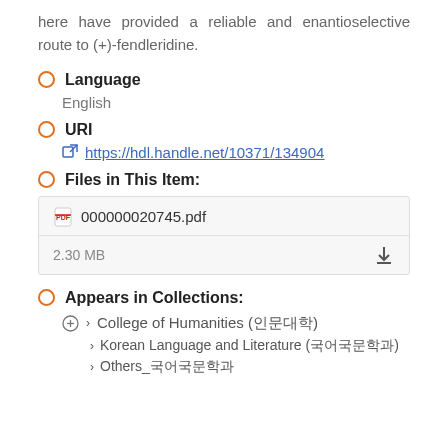here have provided a reliable and enantioselective route to (+)-fendleridine.
Language
English
URI
https://hdl.handle.net/10371/134904
Files in This Item:
| File | Size |
| --- | --- |
| 000000020745.pdf | 2.30 MB |
Appears in Collections:
College of Humanities (인문대학)
Korean Language and Literature (국어국문학과)
Others_국어국문학과